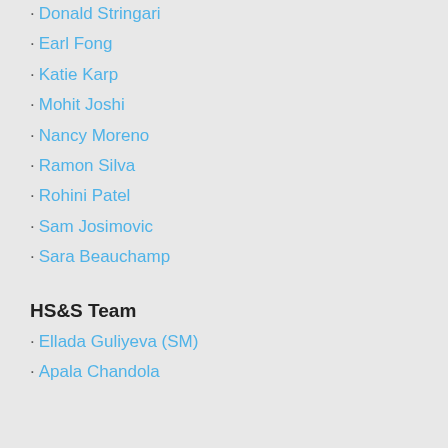· Donald Stringari
· Earl Fong
· Katie Karp
· Mohit Joshi
· Nancy Moreno
· Ramon Silva
· Rohini Patel
· Sam Josimovic
· Sara Beauchamp
HS&S Team
· Ellada Guliyeva (SM)
· Apala Chandola